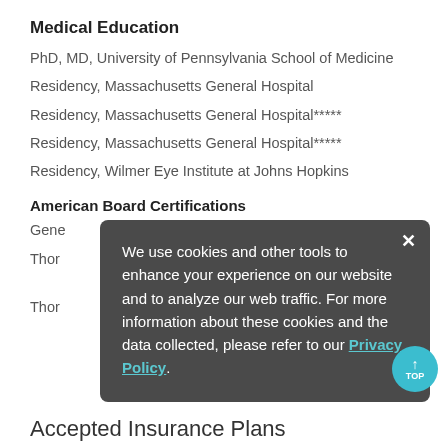Medical Education
PhD, MD, University of Pennsylvania School of Medicine
Residency, Massachusetts General Hospital
Residency, Massachusetts General Hospital*****
Residency, Massachusetts General Hospital*****
Residency, Wilmer Eye Institute at Johns Hopkins
American Board Certifications
General Surgery, American Board of Surgery
Thoracic and Cardiac Surgery, American Board of Thoracic Surgery
Thoracic and Cardiac Surgery, American Board of...
We use cookies and other tools to enhance your experience on our website and to analyze our web traffic. For more information about these cookies and the data collected, please refer to our Privacy Policy.
Accepted Insurance Plans